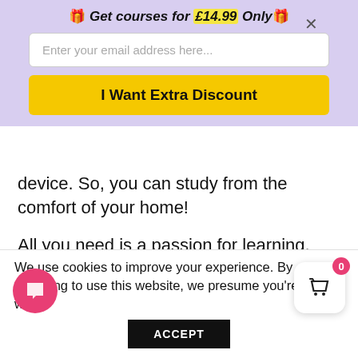🎁 Get courses for £14.99 Only🎁
Enter your email address here...
I Want Extra Discount
device. So, you can study from the comfort of your home!
All you need is a passion for learning, literacy, and to be over the age of 16.
Career Path
We use cookies to improve your experience. By continuing to use this website, we presume you're okay wit
ACCEPT